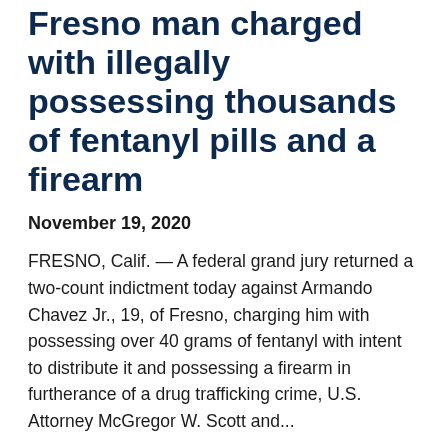Fresno man charged with illegally possessing thousands of fentanyl pills and a firearm
November 19, 2020
FRESNO, Calif. — A federal grand jury returned a two-count indictment today against Armando Chavez Jr., 19, of Fresno, charging him with possessing over 40 grams of fentanyl with intent to distribute it and possessing a firearm in furtherance of a drug trafficking crime, U.S. Attorney McGregor W. Scott and...
Dominican National sentenced to over 21 years in prison for fentanyl...